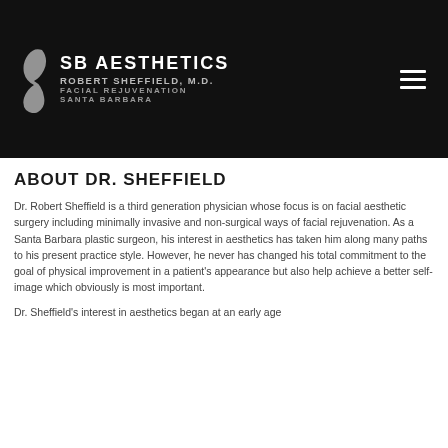SB AESTHETICS
ROBERT SHEFFIELD, M.D.
FACIAL REJUVENATION
SANTA BARBARA
ABOUT DR. SHEFFIELD
Dr. Robert Sheffield is a third generation physician whose focus is on facial aesthetic surgery including minimally invasive and non-surgical ways of facial rejuvenation. As a Santa Barbara plastic surgeon, his interest in aesthetics has taken him along many paths to his present practice style. However, he never has changed his total commitment to the goal of physical improvement in a patient's appearance but also help achieve a better self-image which obviously is most important.
Dr. Sheffield's interest in aesthetics began at an early age